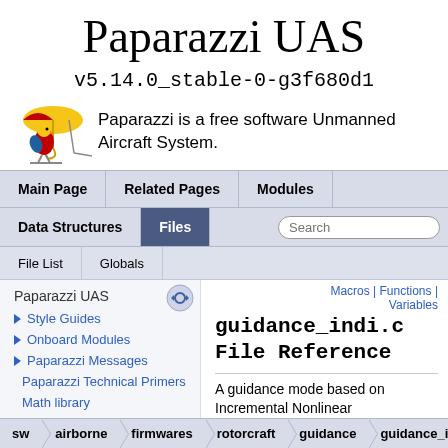Paparazzi UAS
v5.14.0_stable-0-g3f680d1
Paparazzi is a free software Unmanned Aircraft System.
Main Page | Related Pages | Modules | Data Structures | Files
File List | Globals
Paparazzi UAS
Style Guides
Onboard Modules
Paparazzi Messages
Paparazzi Technical Primers
Math library
CATIA
Macros | Functions | Variables
guidance_indi.c File Reference
A guidance mode based on Incremental Nonlinear
sw > airborne > firmwares > rotorcraft > guidance > guidance_indi.c